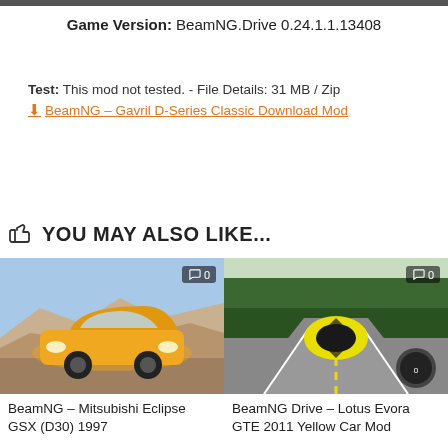Game Version: BeamNG.Drive 0.24.1.1.13408
Test: This mod not tested. - File Details: 31 MB / Zip
⬇ BeamNG – Gavril D-Series Classic Download Mod
👍 YOU MAY ALSO LIKE...
[Figure (photo): Yellow Mitsubishi Eclipse GSX (D30) 1997 sports car in a rocky landscape, BeamNG mod screenshot]
BeamNG – Mitsubishi Eclipse GSX (D30) 1997
[Figure (photo): Yellow Lotus Evora GTE 2011 sports car on a road with trees, BeamNG mod screenshot]
BeamNG Drive – Lotus Evora GTE 2011 Yellow Car Mod